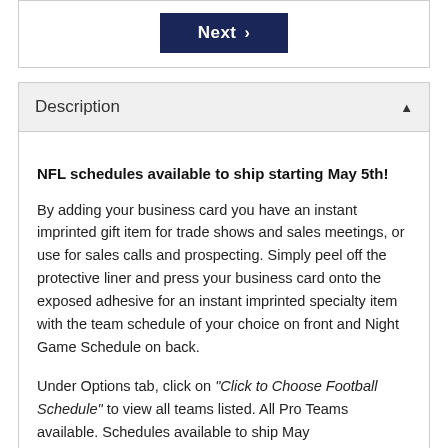[Figure (screenshot): A dark navy 'Next >' button centered in a bordered white box]
Description
NFL schedules available to ship starting May 5th! By adding your business card you have an instant imprinted gift item for trade shows and sales meetings, or use for sales calls and prospecting. Simply peel off the protective liner and press your business card onto the exposed adhesive for an instant imprinted specialty item with the team schedule of your choice on front and Night Game Schedule on back.

Under Options tab, click on "Click to Choose Football Schedule" to view all teams listed. All Pro Teams available. Schedules available to ship May